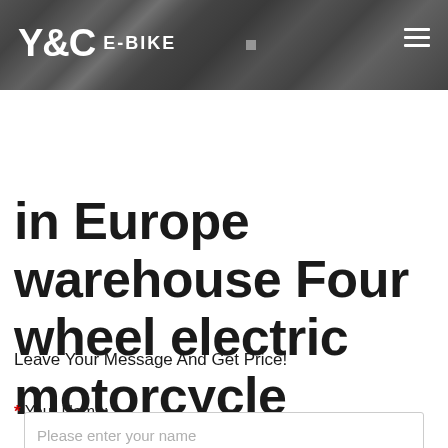Y&C E-BIKE
in Europe warehouse Four wheel electric motorcycle
Leave Your Message And Get Price!
* Your Name:
Please enter your name